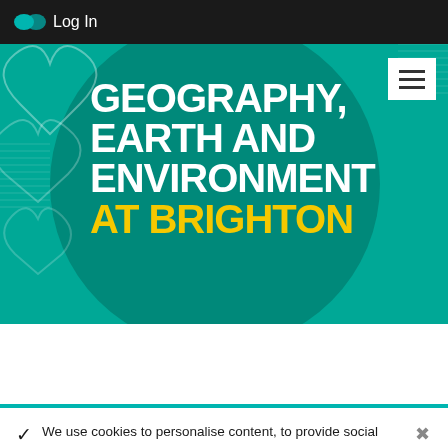Log In
[Figure (screenshot): University of Brighton Geography, Earth and Environment department hero banner with teal background, decorative shapes, white bold uppercase text 'GEOGRAPHY, EARTH AND ENVIRONMENT' and yellow bold text 'AT BRIGHTON', with hamburger menu icon in top right]
We use cookies to personalise content, to provide social media features and to analyse our traffic. Read our detailed cookie policy